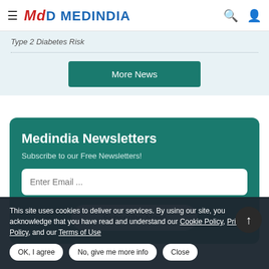Medindia
Type 2 Diabetes Risk
More News
Medindia Newsletters
Subscribe to our Free Newsletters!
Enter Email ...
Subscribe Now!
This site uses cookies to deliver our services. By using our site, you acknowledge that you have read and understand our Cookie Policy, Privacy Policy, and our Terms of Use
OK, I agree
No, give me more info
Close